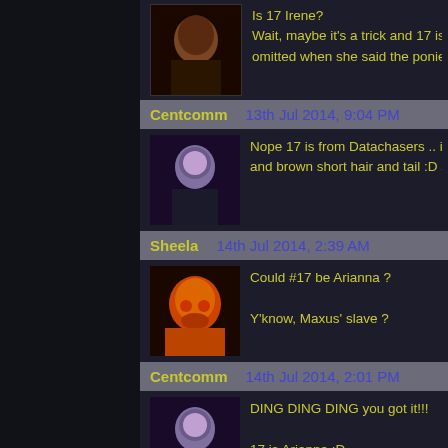Is 17 Irene?
Wait, maybe it's a trick and 17 is really Ta... omitted when she said the ponies are cha...
Centcomm   13th Jul 2014, 9:04 PM
Nope 17 is from Datachasers .. it IS a girl... and brown short hair and tail :D so what c...
Sheela   14th Jul 2014, 2:39 AM
Could #17 be Arianna ?
Y'know, Maxus' slave ?
Centcomm   14th Jul 2014, 2:01 PM
DING DING DING you got it!!!
17 is Arianna :D
Stormwind13   14th Jul 2014, 2:04 PM
Congrats, Sheela. Got the hard one. :-)